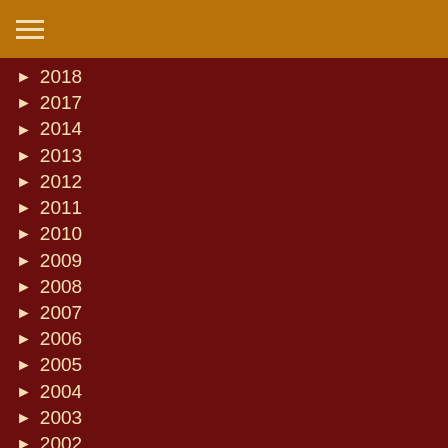☰
► 2018
► 2017
► 2014
► 2013
► 2012
► 2011
► 2010
► 2009
► 2008
► 2007
► 2006
► 2005
► 2004
► 2003
► 2002
► 2001
Categories
Select Category
Recent Posts
Engine Co. 31 Firehouse in Manhattan